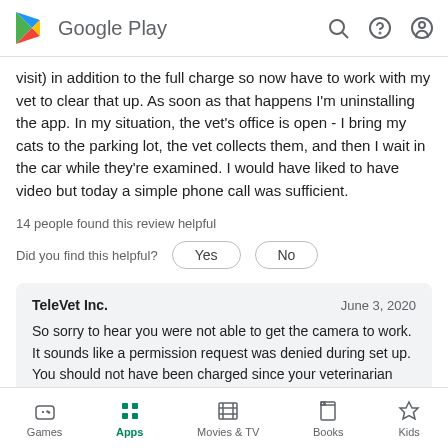Google Play
visit) in addition to the full charge so now have to work with my vet to clear that up. As soon as that happens I'm uninstalling the app. In my situation, the vet's office is open - I bring my cats to the parking lot, the vet collects them, and then I wait in the car while they're examined. I would have liked to have video but today a simple phone call was sufficient.
14 people found this review helpful
Did you find this helpful? Yes No
TeleVet Inc. June 3, 2020
So sorry to hear you were not able to get the camera to work. It sounds like a permission request was denied during set up. You should not have been charged since your veterinarian
Games Apps Movies & TV Books Kids